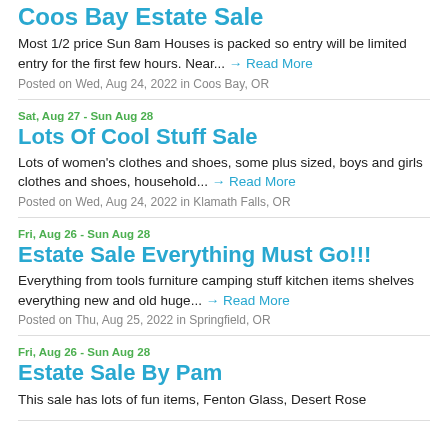Coos Bay Estate Sale
Most 1/2 price Sun 8am Houses is packed so entry will be limited entry for the first few hours. Near... → Read More
Posted on Wed, Aug 24, 2022 in Coos Bay, OR
Sat, Aug 27 - Sun Aug 28
Lots Of Cool Stuff Sale
Lots of women's clothes and shoes, some plus sized, boys and girls clothes and shoes, household... → Read More
Posted on Wed, Aug 24, 2022 in Klamath Falls, OR
Fri, Aug 26 - Sun Aug 28
Estate Sale Everything Must Go!!!
Everything from tools furniture camping stuff kitchen items shelves everything new and old huge... → Read More
Posted on Thu, Aug 25, 2022 in Springfield, OR
Fri, Aug 26 - Sun Aug 28
Estate Sale By Pam
This sale has lots of fun items, Fenton Glass, Desert Rose